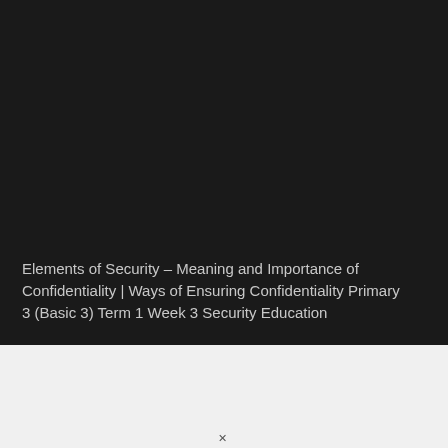[Figure (photo): Large dark/black background image occupying the upper portion of the page]
Elements of Security – Meaning and Importance of Confidentiality | Ways of Ensuring Confidentiality Primary 3 (Basic 3) Term 1 Week 3 Security Education